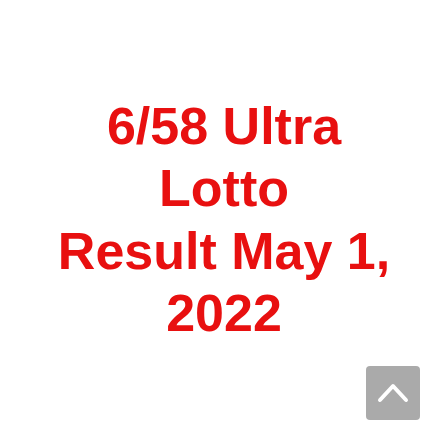6/58 Ultra Lotto Result May 1, 2022
[Figure (other): Gray scroll-to-top button with upward-pointing chevron arrow, positioned in the bottom-right corner of the page]